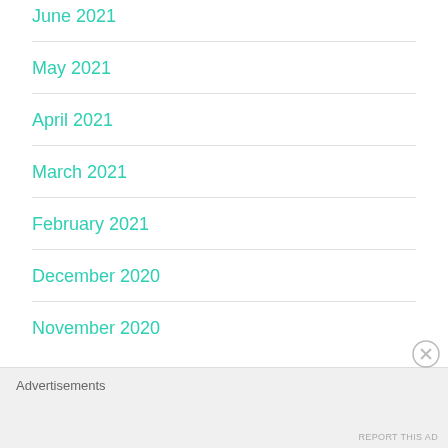June 2021
May 2021
April 2021
March 2021
February 2021
December 2020
November 2020
Advertisements